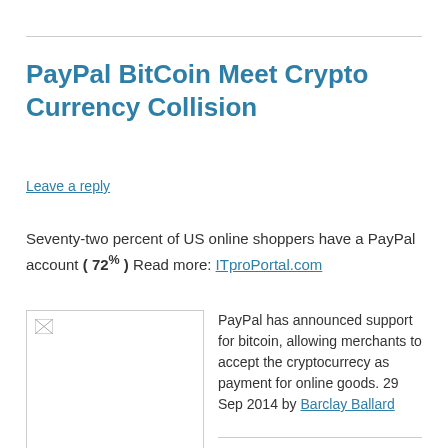PayPal BitCoin Meet Crypto Currency Collision
Leave a reply
Seventy-two percent of US online shoppers have a PayPal account ( 72% ) Read more: ITproPortal.com
[Figure (photo): Image placeholder (broken image icon) for a PayPal bitcoin related image]
PayPal has announced support for bitcoin, allowing merchants to accept the cryptocurrecy as payment for online goods. 29 Sep 2014 by Barclay Ballard